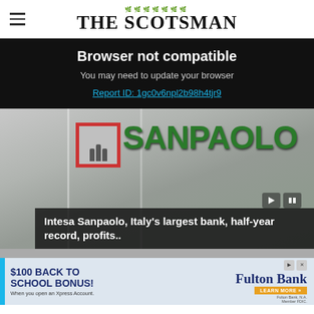THE SCOTSMAN
Browser not compatible
You may need to update your browser
Report ID: 1gc0v6npl2b98h4tjr9
[Figure (photo): Intesa Sanpaolo bank sign with green letters and red-bordered logo box on a grey wall. Video player controls visible.]
Intesa Sanpaolo, Italy's largest bank, half-year record, profits..
[Figure (infographic): Advertisement: $100 BACK TO SCHOOL BONUS! When you open an Xpress Account. Fulton Bank. LEARN MORE.]